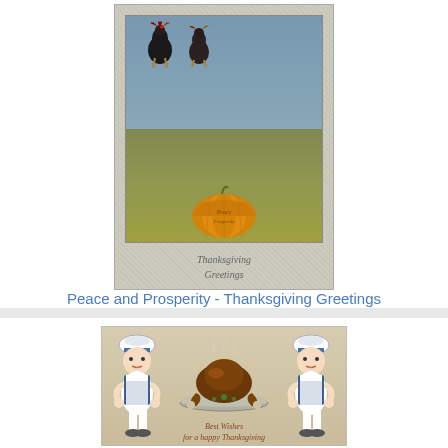[Figure (illustration): Vintage Thanksgiving postcard showing two turkeys standing behind a large pumpkin with text 'Peace and Prosperity' on the pumpkin, in a silver embossed border with 'Thanksgiving Greetings' below]
Peace and Prosperity - Thanksgiving Greetings
[Figure (illustration): Vintage Thanksgiving postcard showing two chubby baby chef figures carrying a large roasted turkey on a platter, with steam rising, and text 'Best Wishes for a happy Thanksgiving' at the bottom]